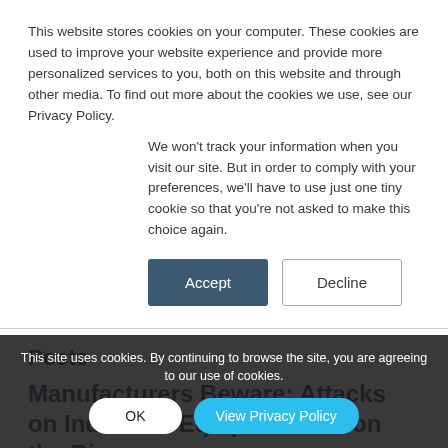This website stores cookies on your computer. These cookies are used to improve your website experience and provide more personalized services to you, both on this website and through other media. To find out more about the cookies we use, see our Privacy Policy.
We won't track your information when you visit our site. But in order to comply with your preferences, we'll have to use just one tiny cookie so that you're not asked to make this choice again.
Accept
Decline
Posts
Manufacturers Beware: Attacks on Industrial Equipment are on the Rise
October 30, 2019
We have seen the issue
This site uses cookies. By continuing to browse the site, you are agreeing to our use of cookies.
OK
View Privacy Policy